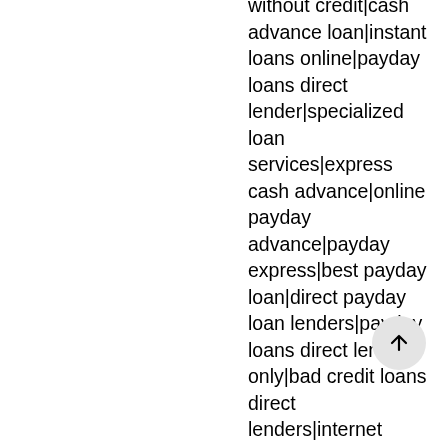without credit|cash advance loan|instant loans online|payday loans direct lender|specialized loan services|express cash advance|online payday advance|payday express|best payday loan|direct payday loan lenders|payday loans direct lenders only|bad credit loans direct lenders|internet payday loans|loan express|hassle free payday loans|loan|loans|payday loans|personal loans|payday loan|loans online|payday lending|loans for bad credit|personal loan|cash advance|loans no credit|loans no credit check|credit loans|payday loans online|bad credit loans|installment loans|payday loans no credit|payday loans no credit check|online loans|online payday|loan application|loans guaranteed approval|money fast|loan payday|cash loans|web loan|bad credit loans guaranteed approval|online payday loans|payday advance|personal loans for bad credit|loan online|loans instant approval|credit loans